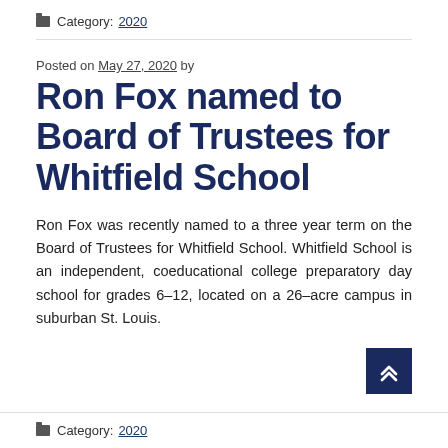Category: 2020
Posted on May 27, 2020 by
Ron Fox named to Board of Trustees for Whitfield School
Ron Fox was recently named to a three year term on the Board of Trustees for Whitfield School. Whitfield School is an independent, coeducational college preparatory day school for grades 6–12, located on a 26–acre campus in suburban St. Louis.
Category: 2020